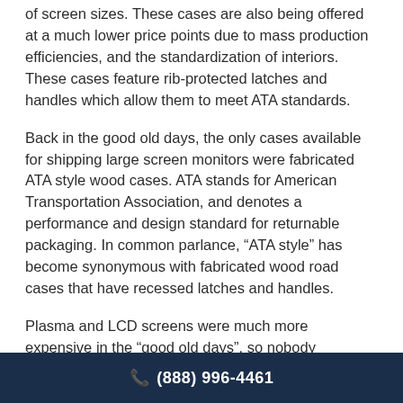of screen sizes. These cases are also being offered at a much lower price points due to mass production efficiencies, and the standardization of interiors. These cases feature rib-protected latches and handles which allow them to meet ATA standards.
Back in the good old days, the only cases available for shipping large screen monitors were fabricated ATA style wood cases. ATA stands for American Transportation Association, and denotes a performance and design standard for returnable packaging. In common parlance, “ATA style” has become synonymous with fabricated wood road cases that have recessed latches and handles.
Plasma and LCD screens were much more expensive in the “good old days”, so nobody complained about using a heavy, custom wood ATA case to protect them. As screen prices have come way down in recent years, it no
☎ (888) 996-4461